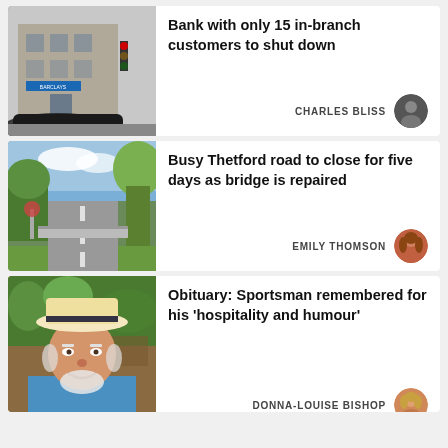[Figure (photo): Street view photo of a Barclays bank branch building]
Bank with only 15 in-branch customers to shut down
CHARLES BLISS
[Figure (photo): Street view photo of a road through Thetford area with trees and a bridge]
Busy Thetford road to close for five days as bridge is repaired
EMILY THOMSON
[Figure (photo): Photo of an elderly man smiling wearing a white hat]
Obituary: Sportsman remembered for his 'hospitality and humour'
DONNA-LOUISE BISHOP